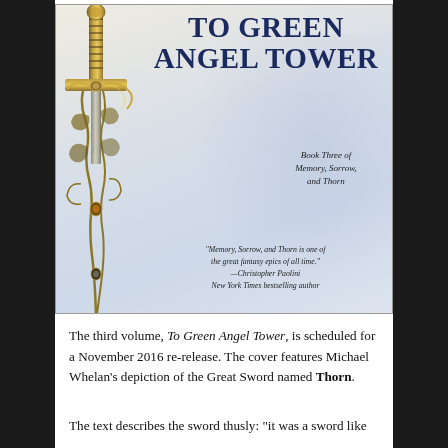[Figure (photo): Book cover of 'To Green Angel Tower', Book Three of Memory, Sorrow, and Thorn. Features a detailed ornate sword (the Great Sword Thorn) on the left with intricate filigree hilt, a ghostly figure in blue-white in the background, and a quote from Christopher Paolini praising the series.]
The third volume, To Green Angel Tower, is scheduled for a November 2016 re-release. The cover features Michael Whelan's depiction of the Great Sword named Thorn.
The text describes the sword thusly: "it was a sword like